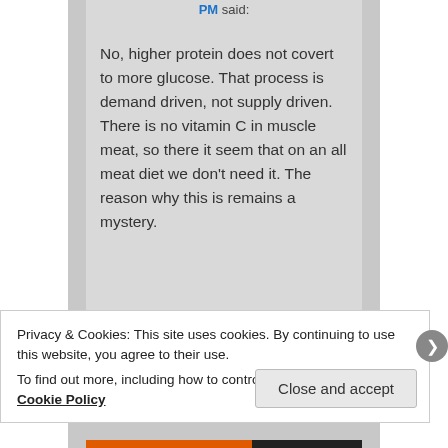PM said:
No, higher protein does not covert to more glucose. That process is demand driven, not supply driven. There is no vitamin C in muscle meat, so there it seem that on an all meat diet we don't need it. The reason why this is remains a mystery.
Privacy & Cookies: This site uses cookies. By continuing to use this website, you agree to their use.
To find out more, including how to control cookies, see here: Cookie Policy
Close and accept